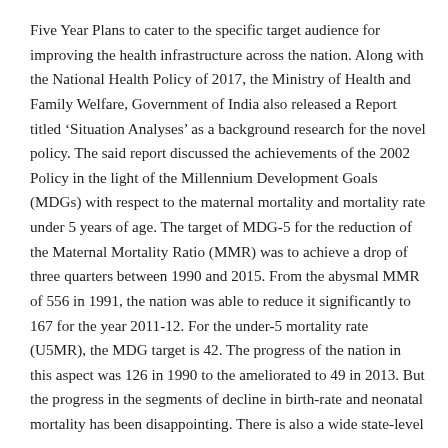Five Year Plans to cater to the specific target audience for improving the health infrastructure across the nation. Along with the National Health Policy of 2017, the Ministry of Health and Family Welfare, Government of India also released a Report titled 'Situation Analyses' as a background research for the novel policy. The said report discussed the achievements of the 2002 Policy in the light of the Millennium Development Goals (MDGs) with respect to the maternal mortality and mortality rate under 5 years of age. The target of MDG-5 for the reduction of the Maternal Mortality Ratio (MMR) was to achieve a drop of three quarters between 1990 and 2015. From the abysmal MMR of 556 in 1991, the nation was able to reduce it significantly to 167 for the year 2011-12. For the under-5 mortality rate (U5MR), the MDG target is 42. The progress of the nation in this aspect was 126 in 1990 to the ameliorated to 49 in 2013. But the progress in the segments of decline in birth-rate and neonatal mortality has been disappointing. There is also a wide state-level